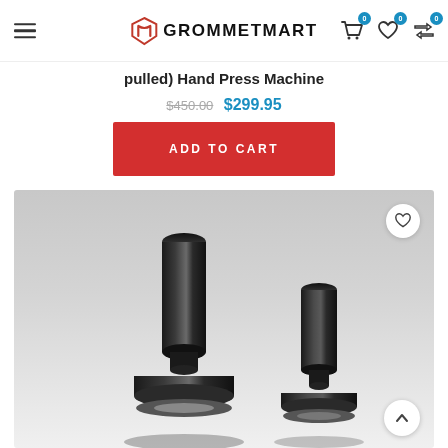GROMMETMART — navigation header with hamburger menu, logo, cart (0), wishlist (0), compare (0) icons
pulled) Hand Press Machine
$450.00   $299.95
ADD TO CART
[Figure (photo): Two black metal grommet press die punches/tools on a gray gradient background. Left tool is taller with a wider flange base; right tool is shorter. Both are shiny black metal.]